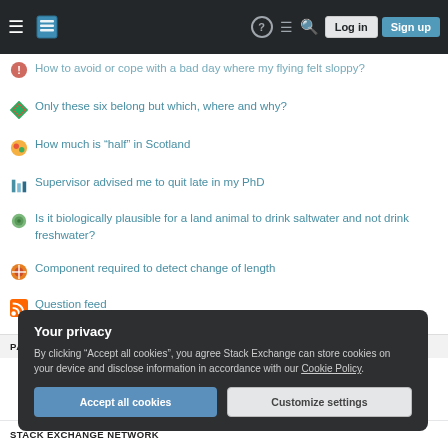Stack Exchange navigation bar with logo, icons, Log in and Sign up buttons
How to avoid or cope with a bad day where my flying felt sloppy?
Only these six belong but which, where and why?
How much is "half" in Scotland
Supervisor advised me to quit late in my PhD
Is it biologically plausible for a land animal to drink saltwater and not drink freshwater?
Component required to detect change of length
Question feed
PARENTING
Your privacy
By clicking “Accept all cookies”, you agree Stack Exchange can store cookies on your device and disclose information in accordance with our Cookie Policy.
Accept all cookies | Customize settings
STACK EXCHANGE NETWORK